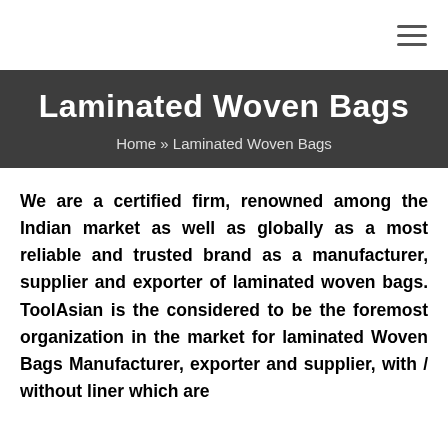≡
Laminated Woven Bags
Home » Laminated Woven Bags
We are a certified firm, renowned among the Indian market as well as globally as a most reliable and trusted brand as a manufacturer, supplier and exporter of laminated woven bags. ToolAsian is the considered to be the foremost organization in the market for laminated Woven Bags Manufacturer, exporter and supplier, with / without liner which are